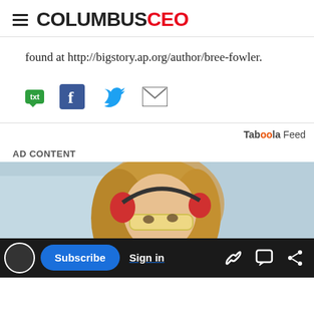COLUMBUS CEO
found at http://bigstory.ap.org/author/bree-fowler.
[Figure (infographic): Social sharing icons: txt (SMS/text), Facebook, Twitter, Email]
Taboola Feed
AD CONTENT
[Figure (photo): Advertisement photo: woman wearing red ear protection and safety glasses, looking downward, in an indoor setting]
[Figure (infographic): Bottom navigation bar with Subscribe button, Sign in link, and share/copy icons]